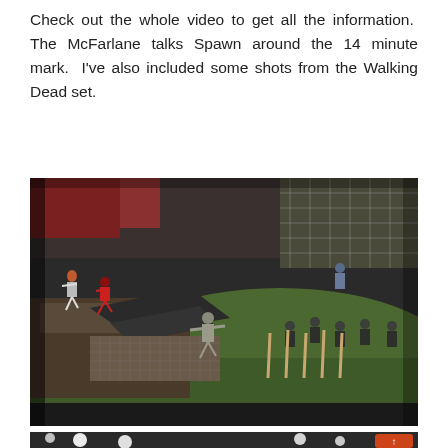Check out the whole video to get all the information. The McFarlane talks Spawn around the 14 minute mark. I've also included some shots from the Walking Dead set.
[Figure (photo): A detailed diorama/playset of Walking Dead action figures on a grass-covered base with fencing, structures, and multiple action figures in combat poses.]
[Figure (photo): Partial view of a convention hall interior with bokeh lights visible in the background, partially cut off at bottom of page.]